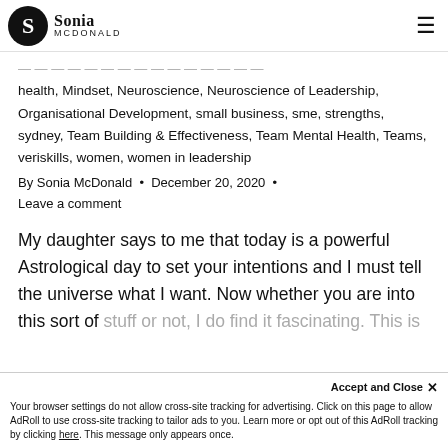Sonia McDonald
health, Mindset, Neuroscience, Neuroscience of Leadership, Organisational Development, small business, sme, strengths, sydney, Team Building & Effectiveness, Team Mental Health, Teams, veriskills, women, women in leadership
By Sonia McDonald · December 20, 2020 · Leave a comment
My daughter says to me that today is a powerful Astrological day to set your intentions and I must tell the universe what I want. Now whether you are into this sort of stuff or not, I do find it fascinating. This is...
Your browser settings do not allow cross-site tracking for advertising. Click on this page to allow AdRoll to use cross-site tracking to tailor ads to you. Learn more or opt out of this AdRoll tracking by clicking here. This message only appears once.